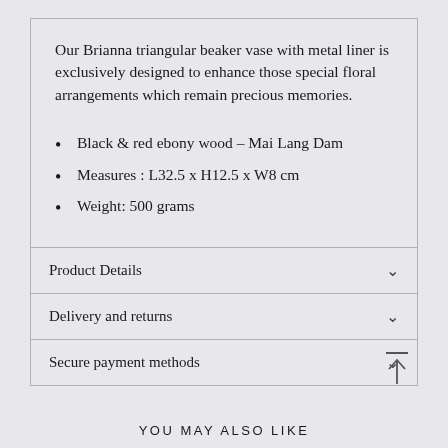Our Brianna triangular beaker vase with metal liner is exclusively designed to enhance those special floral arrangements which remain precious memories.
Black & red ebony wood – Mai Lang Dam
Measures : L32.5 x H12.5 x W8 cm
Weight: 500 grams
Product Details
Delivery and returns
Secure payment methods
YOU MAY ALSO LIKE